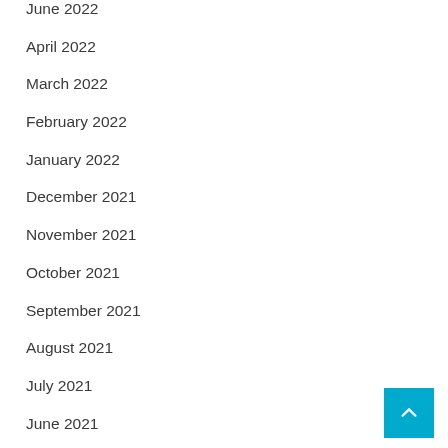June 2022
April 2022
March 2022
February 2022
January 2022
December 2021
November 2021
October 2021
September 2021
August 2021
July 2021
June 2021
May 2021
April 2021